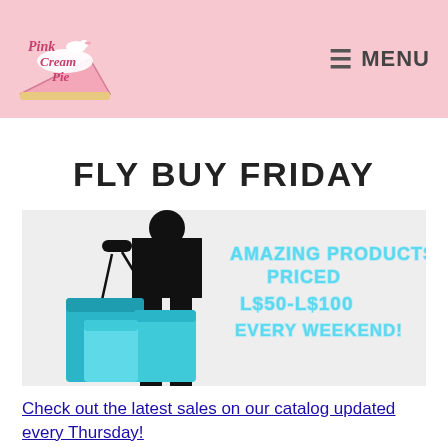Pink Cream Pie — MENU
FLY BUY FRIDAY
[Figure (illustration): Promotional banner showing a silhouette of a person holding teal shopping bags with text: AMAZING PRODUCTS PRICED L$50-L$100 EVERY WEEKEND!]
Check out the latest sales on our catalog updated every Thursday!